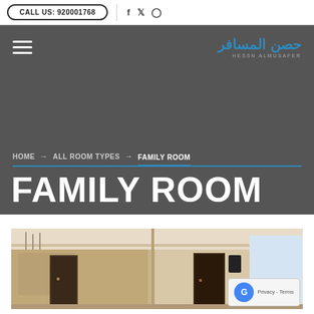CALL US: 920001768
[Figure (logo): Hessn Al Musafer logo with Arabic text in blue and Latin subtitle]
HOME → ALL ROOM TYPES → FAMILY ROOM
FAMILY ROOM
[Figure (photo): Interior photo of a family room showing modern lobby/corridor design with lighting and glass doors]
Privacy - Terms